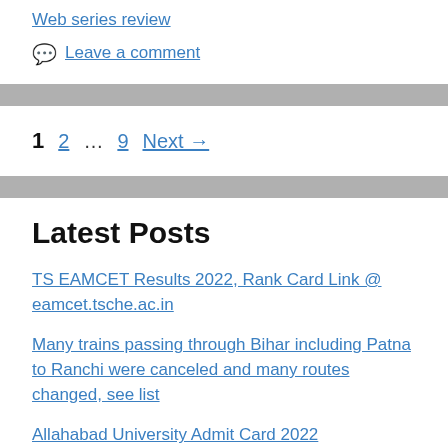Web series review
Leave a comment
1  2  …  9  Next →
Latest Posts
TS EAMCET Results 2022, Rank Card Link @ eamcet.tsche.ac.in
Many trains passing through Bihar including Patna to Ranchi were canceled and many routes changed, see list
Allahabad University Admit Card 2022